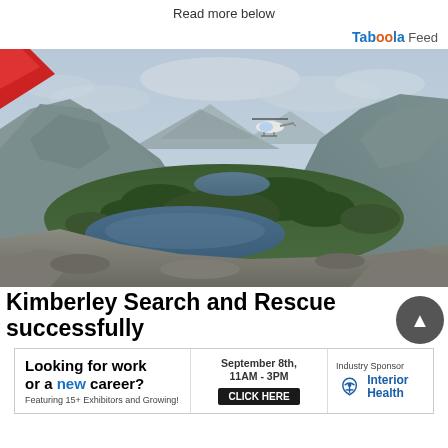Read more below
[Figure (logo): Taboola Feed logo]
[Figure (photo): Aerial mountain landscape photo with a helicopter flying over a valley with lakes and evergreen forests, rocky peaks, cloudy sky. Red aircraft wing visible in upper left corner.]
Kimberley Search and Rescue successfully
[Figure (infographic): Advertisement banner: Looking for work or a new career? Featuring 15+ Exhibitors and Growing! September 8th, 11AM - 3PM, CLICK HERE. Industry Sponsor: Interior Health logo.]